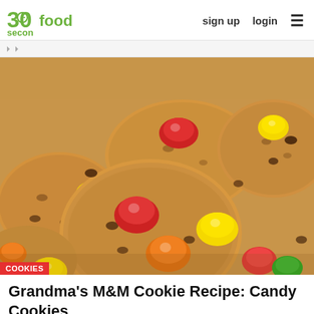30seconds food | sign up | login
[Figure (photo): Close-up photo of M&M cookies stacked together, showing colorful M&M candies (red, orange, yellow, green) and chocolate chips on golden-brown round cookies]
COOKIES
Grandma's M&M Cookie Recipe: Candy Cookies